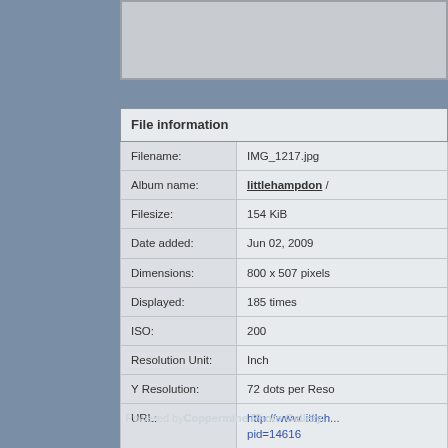[Figure (screenshot): Top portion of a photo/image displayed in a gallery interface, cropped at top]
| File information |  |
| --- | --- |
| Filename: | IMG_1217.jpg |
| Album name: | littlehampdon / ... |
| Filesize: | 154 KiB |
| Date added: | Jun 02, 2009 |
| Dimensions: | 800 x 507 pixels |
| Displayed: | 185 times |
| ISO: | 200 |
| Resolution Unit: | Inch |
| Y Resolution: | 72 dots per Reso... |
| URL: | http://www.littleh... pid=14616 |
| Favorites: | Add to Favorites |
Powered by Coppermine Photo Gallery